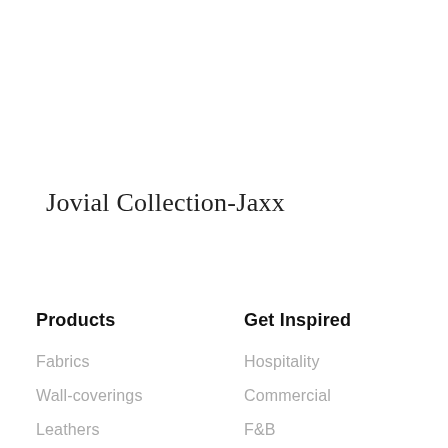Jovial Collection-Jaxx
Products
Get Inspired
Fabrics
Wall-coverings
Leathers
Hospitality
Commercial
F&B